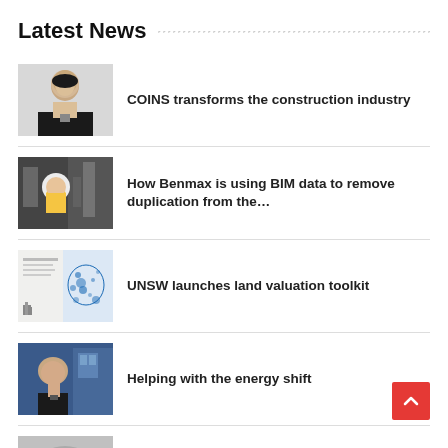Latest News
COINS transforms the construction industry
How Benmax is using BIM data to remove duplication from the…
UNSW launches land valuation toolkit
Helping with the energy shift
Network Plus wins $80m Banetwork and…